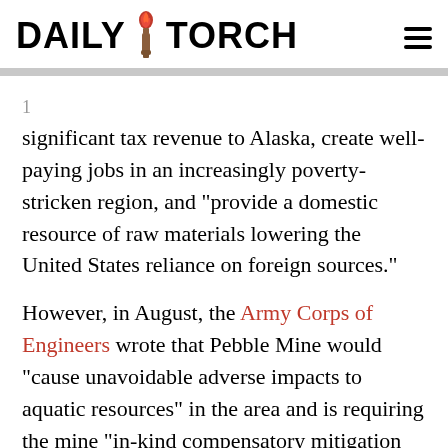DAILY TORCH
significant tax revenue to Alaska, create well-paying jobs in an increasingly poverty-stricken region, and “provide a domestic resource of raw materials lowering the United States reliance on foreign sources.”
However, in August, the Army Corps of Engineers wrote that Pebble Mine would “cause unavoidable adverse impacts to aquatic resources” in the area and is requiring the mine “in-kind compensatory mitigation within the Koktuli River Watershed … [to] compensate for all direct and indirect impacts